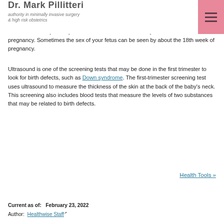Dr. Mark Pillitteri — authority in minimally invasive surgery & high risk obstetrics
Fetal ultrasound is the safest way to check for problems, and details about your baby, such as the size and position, and does not use X-rays or other types of radiation that may harm your fetus. It can be done as early as the 5th week of pregnancy. Sometimes the sex of your fetus can be seen by about the 18th week of pregnancy.
Ultrasound is one of the screening tests that may be done in the first trimester to look for birth defects, such as Down syndrome. The first-trimester screening test uses ultrasound to measure the thickness of the skin at the back of the baby's neck. This screening also includes blood tests that measure the levels of two substances that may be related to birth defects.
Health Tools »
Current as of:   February 23, 2022
Author: Healthwise Staff
Author:  Healthwise Staff